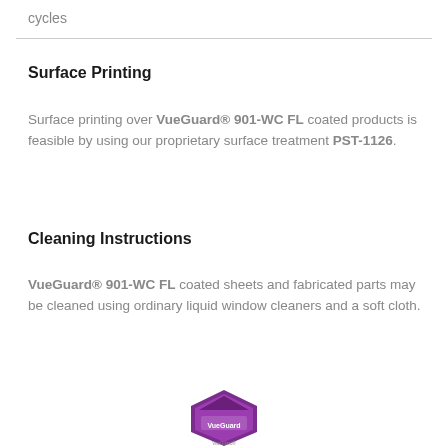cycles
Surface Printing
Surface printing over VueGuard® 901-WC FL coated products is feasible by using our proprietary surface treatment PST-1126.
Cleaning Instructions
VueGuard® 901-WC FL coated sheets and fabricated parts may be cleaned using ordinary liquid window cleaners and a soft cloth.
[Figure (logo): VueGuard logo — purple shield/house shape with VueGuard text and registered trademark symbol]